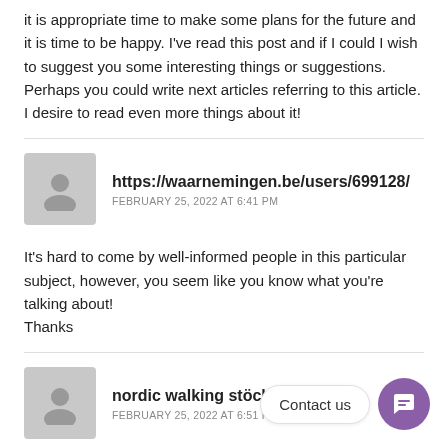it is appropriate time to make some plans for the future and it is time to be happy. I've read this post and if I could I wish to suggest you some interesting things or suggestions. Perhaps you could write next articles referring to this article. I desire to read even more things about it!
https://waarnemingen.be/users/699128/
FEBRUARY 25, 2022 AT 6:41 PM
It's hard to come by well-informed people in this particular subject, however, you seem like you know what you're talking about!
Thanks
nordic walking stöcke
FEBRUARY 25, 2022 AT 6:51 PM
Contact us
As doloribus Contet Sticker sure Hostella Autobio baad it